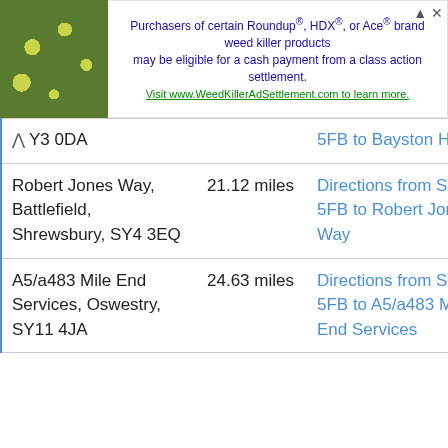[Figure (other): Advertisement banner: image of yellow flowers on green plants on left. Text reads: Purchasers of certain Roundup®, HDX®, or Ace® brand weed killer products may be eligible for a cash payment from a class action settlement. Visit www.WeedKillerAdSettlement.com to learn more.]
| Location | Distance | Directions |
| --- | --- | --- |
| Y3 0DA |  | 5FB to Bayston Hill |
| Robert Jones Way, Battlefield, Shrewsbury, SY4 3EQ | 21.12 miles | Directions from SY9 5FB to Robert Jones Way |
| A5/a483 Mile End Services, Oswestry, SY11 4JA | 24.63 miles | Directions from SY9 5FB to A5/a483 Mile End Services |